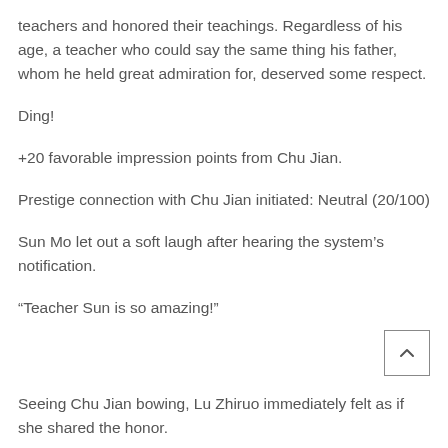teachers and honored their teachings. Regardless of his age, a teacher who could say the same thing his father, whom he held great admiration for, deserved some respect.
Ding!
+20 favorable impression points from Chu Jian.
Prestige connection with Chu Jian initiated: Neutral (20/100)
Sun Mo let out a soft laugh after hearing the system’s notification.
“Teacher Sun is so amazing!”
Seeing Chu Jian bowing, Lu Zhiruo immediately felt as if she shared the honor.